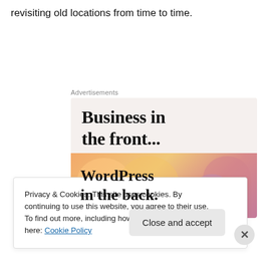revisiting old locations from time to time.
Advertisements
[Figure (illustration): Advertisement banner with two sections: top section on light beige background reads 'Business in the front...' in bold serif font; bottom section has a colorful gradient background (orange, peach, pink, mauve) with decorative blobs and reads 'WordPress in the back.' in bold serif font.]
Privacy & Cookies: This site uses cookies. By continuing to use this website, you agree to their use.
To find out more, including how to control cookies, see here: Cookie Policy
Close and accept